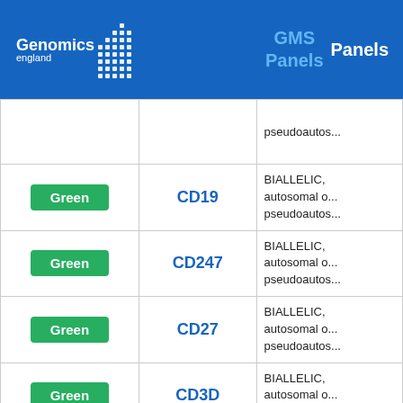Genomics England GMS Panels Panels
| Rating | Gene | Information |
| --- | --- | --- |
|  |  | pseudoautos... |
| Green | CD19 | BIALLELIC, autosomal o... pseudoautos... |
| Green | CD247 | BIALLELIC, autosomal o... pseudoautos... |
| Green | CD27 | BIALLELIC, autosomal o... pseudoautos... |
| Green | CD3D | BIALLELIC, autosomal o... pseudoautos... |